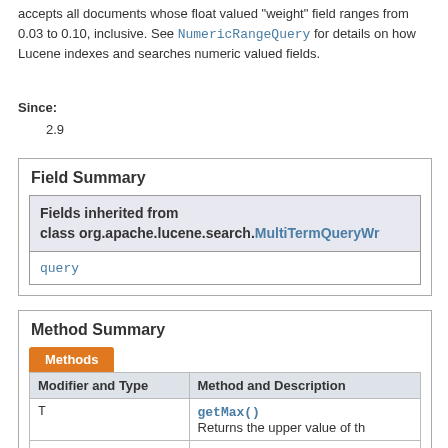accepts all documents whose float valued "weight" field ranges from 0.03 to 0.10, inclusive. See NumericRangeQuery for details on how Lucene indexes and searches numeric valued fields.
Since:
2.9
Field Summary
| Fields inherited from class org.apache.lucene.search.MultiTermQueryWr... |
| --- |
| query |
Method Summary
| Modifier and Type | Method and Description |
| --- | --- |
| T | getMax()
Returns the upper value of th... |
| T | getMin() |